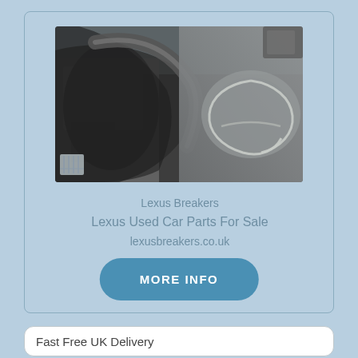[Figure (photo): Close-up photo of a Lexus steering wheel interior showing the Lexus logo emblem and dashboard components]
Lexus Breakers
Lexus Used Car Parts For Sale
lexusbreakers.co.uk
MORE INFO
Fast Free UK Delivery